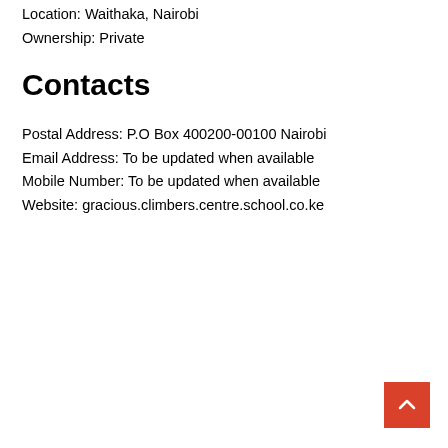Location: Waithaka, Nairobi
Ownership: Private
Contacts
Postal Address: P.O Box 400200-00100 Nairobi
Email Address: To be updated when available
Mobile Number: To be updated when available
Website: gracious.climbers.centre.school.co.ke